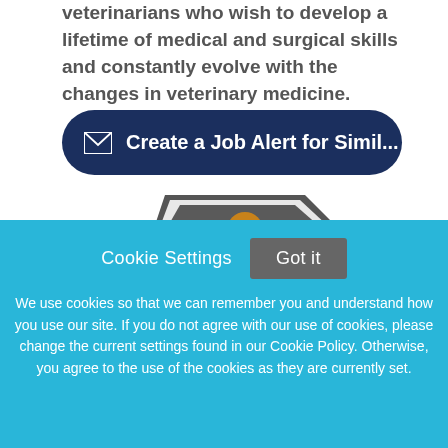veterinarians who wish to develop a lifetime of medical and surgical skills and constantly evolve with the changes in veterinary medicine.
[Figure (other): Dark navy rounded rectangle button with envelope icon and text 'Create a Job Alert for Simil...']
[Figure (logo): Partial logo showing a hexagonal shape with a golden dog illustration on a dark grey background]
Cookie Settings
Got it
We use cookies so that we can remember you and understand how you use our site. If you do not agree with our use of cookies, please change the current settings found in our Cookie Policy. Otherwise, you agree to the use of the cookies as they are currently set.